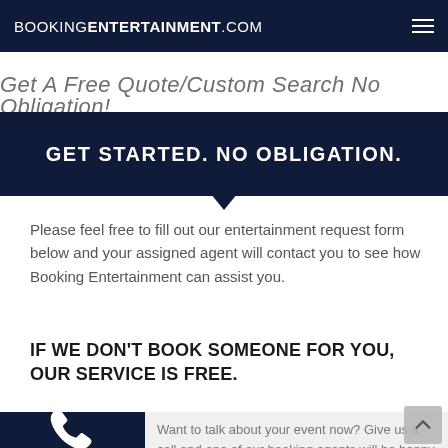BOOKINGENTERTAINMENT.COM
Get A Free Quote/Custom Search No Obligation!
GET STARTED. NO OBLIGATION.
Please feel free to fill out our entertainment request form below and your assigned agent will contact you to see how Booking Entertainment can assist you.
IF WE DON'T BOOK SOMEONE FOR YOU, OUR SERVICE IS FREE.
Want to talk about your event now? Give us a call and one of our booking agents will be happy to help you immediately.
[Figure (illustration): White telephone/phone handset icon on dark navy background]